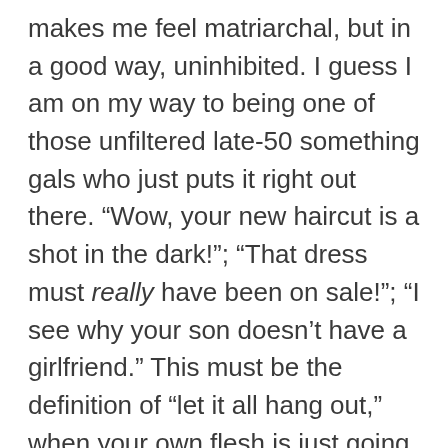makes me feel matriarchal, but in a good way, uninhibited. I guess I am on my way to being one of those unfiltered late-50 something gals who just puts it right out there. “Wow, your new haircut is a shot in the dark!”; “That dress must really have been on sale!”; “I see why your son doesn’t have a girlfriend.” This must be the definition of “let it all hang out,” when your own flesh is just going for it and the rest of you can’t help but follow suit.
Which brings me to Spanx. Hollywood starlets who couldn’t pinch an inch of flesh if their lives depended on it are wearing girdles. When asked “Who are you wearing tonight” on the